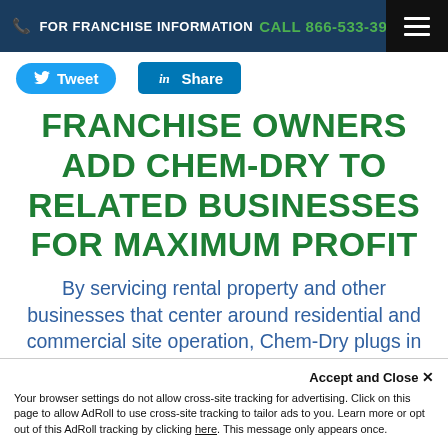FOR FRANCHISE INFORMATION CALL 866-533-3905
[Figure (infographic): Twitter Tweet button (blue rounded rectangle) and LinkedIn Share button (blue square)]
FRANCHISE OWNERS ADD CHEM-DRY TO RELATED BUSINESSES FOR MAXIMUM PROFIT
By servicing rental property and other businesses that center around residential and commercial site operation, Chem-Dry plugs in neatly to existing portfolios
Accept and Close ✕ Your browser settings do not allow cross-site tracking for advertising. Click on this page to allow AdRoll to use cross-site tracking to tailor ads to you. Learn more or opt out of this AdRoll tracking by clicking here. This message only appears once.